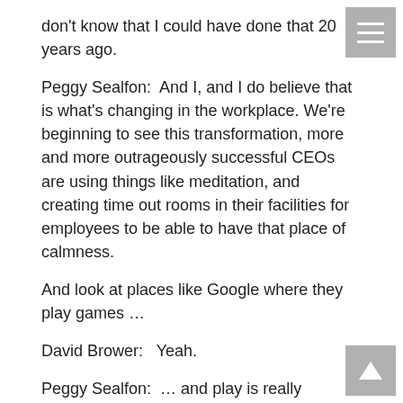don't know that I could have done that 20 years ago.
Peggy Sealfon:  And I, and I do believe that is what's changing in the workplace. We're beginning to see this transformation, more and more outrageously successful CEOs are using things like meditation, and creating time out rooms in their facilities for employees to be able to have that place of calmness.
And look at places like Google where they play games …
David Brower:   Yeah.
Peggy Sealfon:  … and play is really important and it is important to have that work life balance and be able to integrate all parts of our lives. We're not just this one work person and this other family or home person.
David Brower:   Yeah.
Peggy Sealfon:  We're a whole integrated person, and it's